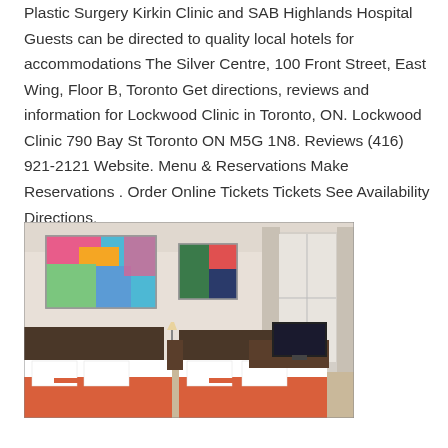Plastic Surgery Kirkin Clinic and SAB Highlands Hospital Guests can be directed to quality local hotels for accommodations The Silver Centre, 100 Front Street, East Wing, Floor B, Toronto Get directions, reviews and information for Lockwood Clinic in Toronto, ON. Lockwood Clinic 790 Bay St Toronto ON M5G 1N8. Reviews (416) 921-2121 Website. Menu & Reservations Make Reservations . Order Online Tickets Tickets See Availability Directions.
[Figure (photo): Hotel room with two beds featuring red/orange bedspreads, white pillows, dark wood headboards, two colorful abstract paintings on the wall, a TV on a dark wood desk, and a window with curtains.]